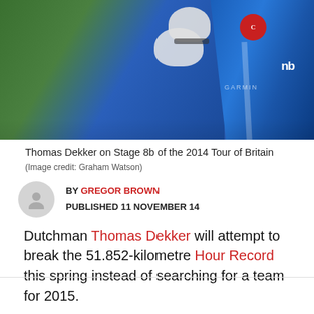[Figure (photo): Cyclists racing, showing a rider in a blue jersey with white stripes and a Castelli logo, with another rider in a white helmet behind, outdoors with green background]
Thomas Dekker on Stage 8b of the 2014 Tour of Britain (Image credit: Graham Watson)
BY GREGOR BROWN
PUBLISHED 11 NOVEMBER 14
Dutchman Thomas Dekker will attempt to break the 51.852-kilometre Hour Record this spring instead of searching for a team for 2015.